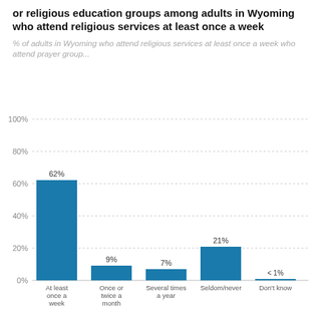or religious education groups among adults in Wyoming who attend religious services at least once a week
% of adults in Wyoming who attend religious services at least once a week who attend prayer group...
[Figure (bar-chart): % attending prayer/religious education groups by attendance frequency]